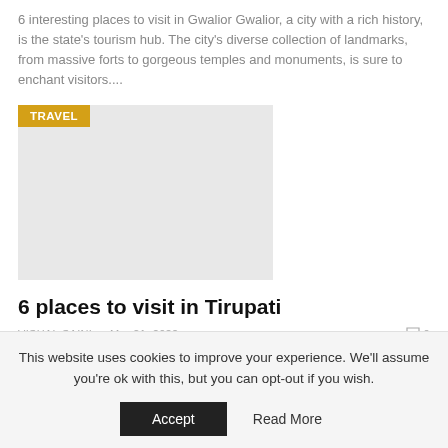6 interesting places to visit in Gwalior Gwalior, a city with a rich history, is the state's tourism hub. The city's diverse collection of landmarks, from massive forts to gorgeous temples and monuments, is sure to enchant visitors....
[Figure (photo): Travel category thumbnail image placeholder with gold TRAVEL badge overlay]
6 places to visit in Tirupati
VISHAL SAINI • Mar 21, 2022   0
6 places to visit in Tirupati The ancient town of Tirupati in Andhra Pradesh's southernmost region is a haven for pilgrims. Sri
This website uses cookies to improve your experience. We'll assume you're ok with this, but you can opt-out if you wish.